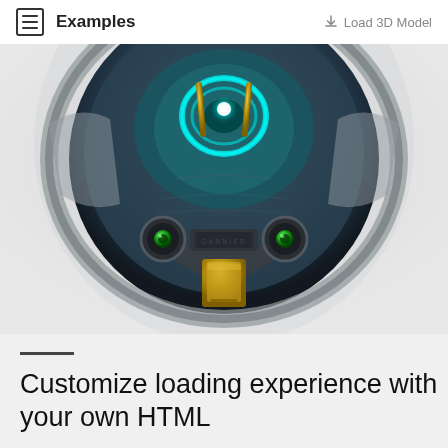Examples   Load 3D Model
[Figure (photo): 3D rendered sci-fi robot or mech head viewed from below, showing metallic teal/dark hull with glowing cyan circular element at top, gold metallic protrusions, two small cameras with green lenses, and a gold rectangular nozzle at the bottom center. Background is light gray.]
—
Customize loading experience with your own HTML